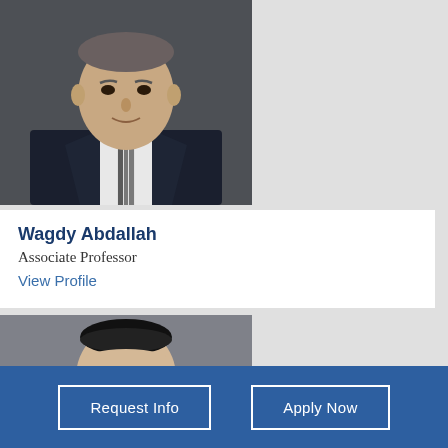[Figure (photo): Professional headshot of Wagdy Abdallah, an older man wearing a dark suit and striped tie, on a gray background]
Wagdy Abdallah
Associate Professor
View Profile
[Figure (photo): Headshot of a man wearing a black kippah and glasses, on a gray background]
Request Info
Apply Now